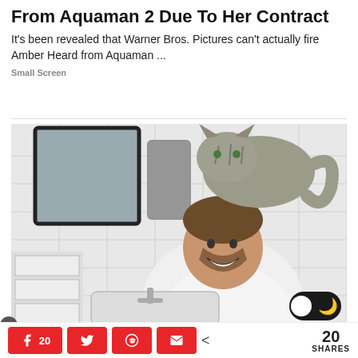From Aquaman 2 Due To Her Contract
It's been revealed that Warner Bros. Pictures can't actually fire Amber Heard from Aquaman ...
Small Screen
[Figure (photo): Man smiling at bathroom sink with a cat standing on his shoulders/head, white subway tile walls, grey towel, mirror reflection visible]
AI Advertising
20  SHARES